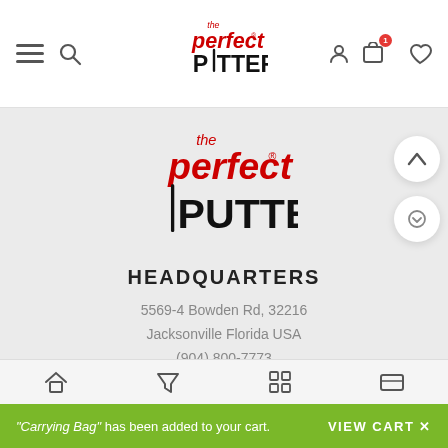The Perfect Putter - navigation header with menu, search, logo, account, cart (1 item), wishlist icons
[Figure (logo): The Perfect Putter logo - red italic 'the perfect' text above bold black 'PUTTER' with a putter club replacing the T]
HEADQUARTERS
5569-4 Bowden Rd, 32216
Jacksonville Florida USA
(904) 800-7773
[Figure (infographic): Three social media icon buttons: Twitter (bird), Facebook (f), YouTube (play button), each in rounded rectangle outlines]
"Carrying Bag" has been added to your cart. VIEW CART ×